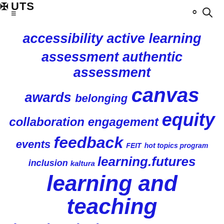UTS
[Figure (infographic): Tag cloud of educational topics in varying font sizes, all in blue italic text. Tags include: accessibility, active learning, assessment, authentic assessment, awards, belonging, canvas, collaboration, engagement, equity, events, feedback, FEIT, hot topics program, inclusion, kaltura, learning.futures, learning and teaching, learning design, learning design meet-up, learning technology, library, LX.lab, lxt, media]